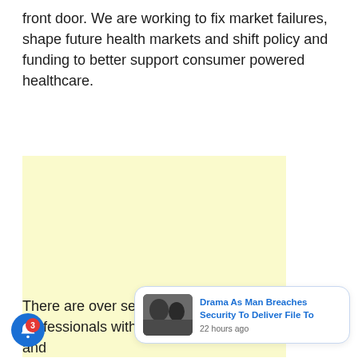front door. We are working to fix market failures, shape future health markets and shift policy and funding to better support consumer powered healthcare.
[Figure (other): Yellow/light cream colored advertisement placeholder block]
There are over ... se group d ... professionals with a wide range of backgrounds and